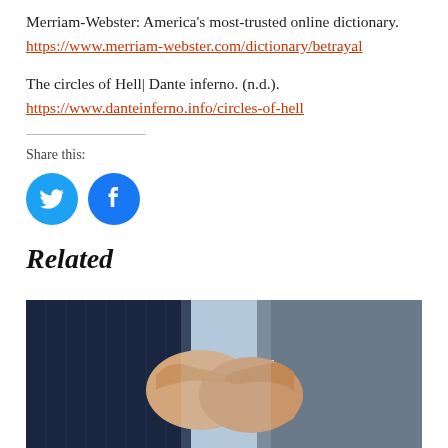Merriam-Webster: America's most-trusted online dictionary. https://www.merriam-webster.com/dictionary/betrayal
The circles of Hell| Dante inferno. (n.d.). https://www.danteinferno.info/circles-of-hell
Share this:
[Figure (infographic): Two circular social media share buttons: Twitter (blue bird icon) and Facebook (blue 'f' icon)]
Related
[Figure (photo): Two people in business attire shaking hands, cropped to show hands and lower arms only]